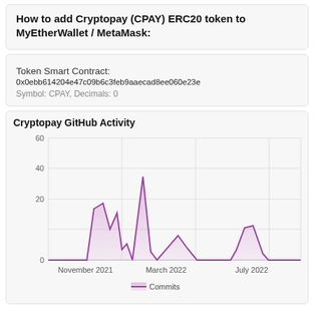How to add Cryptopay (CPAY) ERC20 token to MyEtherWallet / MetaMask:
Token Smart Contract:
0x0ebb614204e47c09b6c3feb9aaecad8ee060e23e
Symbol: CPAY, Decimals: 0
Cryptopay GitHub Activity
[Figure (area-chart): Cryptopay GitHub Activity]